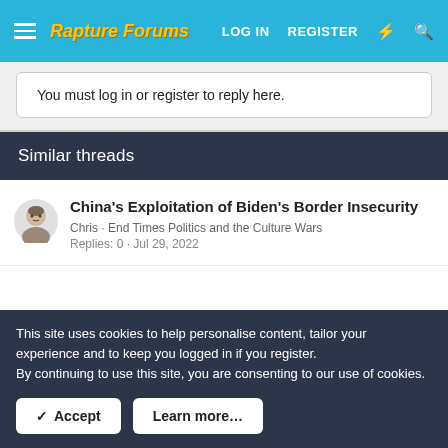Rapture Forums — LOG IN  REGISTER
You must log in or register to reply here.
Similar threads
China's Exploitation of Biden's Border Insecurity
Chris · End Times Politics and the Culture Wars
Replies: 0 · Jul 29, 2022
Taiwan's Message for China: We Have a Nuke-Like Weapon
Chris · End Times Politics and the Culture Wars
This site uses cookies to help personalise content, tailor your experience and to keep you logged in if you register.
By continuing to use this site, you are consenting to our use of cookies.
✓ Accept    Learn more…